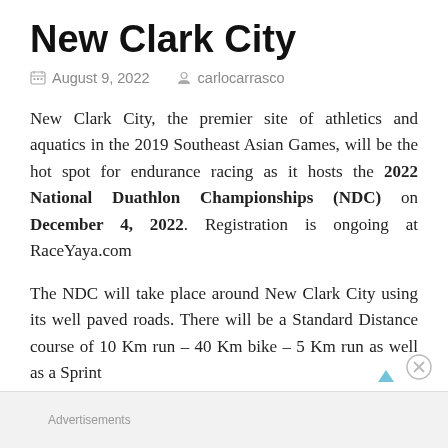New Clark City
August 9, 2022   carlocarrasco
New Clark City, the premier site of athletics and aquatics in the 2019 Southeast Asian Games, will be the hot spot for endurance racing as it hosts the 2022 National Duathlon Championships (NDC) on December 4, 2022. Registration is ongoing at RaceYaya.com
The NDC will take place around New Clark City using its well paved roads. There will be a Standard Distance course of 10 Km run – 40 Km bike – 5 Km run as well as a Sprint
Advertisements